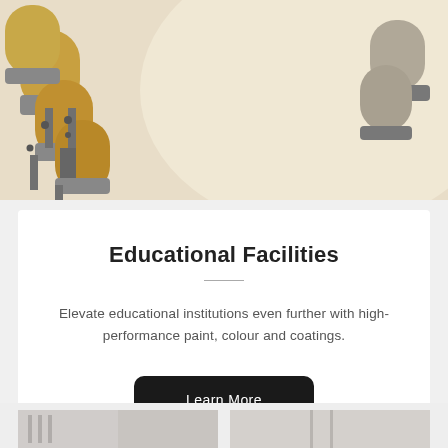[Figure (photo): Close-up photo of lecture hall chairs with wooden seat-backs and grey metal frames, next to a large pale cream-coloured table surface]
Educational Facilities
Elevate educational institutions even further with high-performance paint, colour and coatings.
[Figure (photo): Partial view of an interior space, appears to be a building interior, shown at bottom of page]